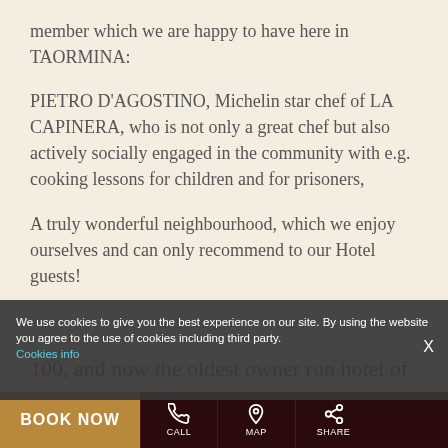member which we are happy to have here in TAORMINA:
PIETRO D'AGOSTINO, Michelin star chef of LA CAPINERA, who is not only a great chef but also actively socially engaged in the community with e.g. cooking lessons for children and for prisoners,
A truly wonderful neighbourhood, which we enjoy ourselves and can only recommend to our Hotel guests!
We use cookies to give you the best experience on our site. By using the website you agree to the use of cookies including third party. Cookies info
100, and now the oldest owner run hotel of the whole island of Sicily, has been a
BOOK NOW
CALL
MAP
SHARE